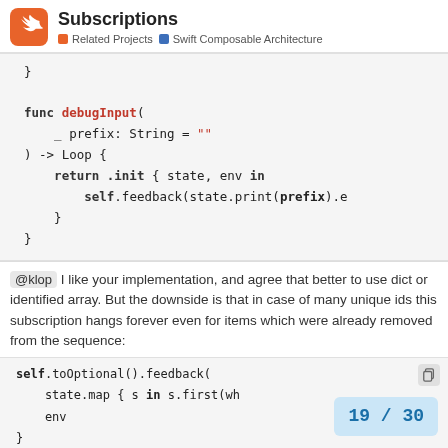Subscriptions | Related Projects | Swift Composable Architecture
func debugInput(
    _ prefix: String = ""
) -> Loop {
    return .init { state, env in
        self.feedback(state.print(prefix).e
    }
}
@klop I like your implementation, and agree that better to use dict or identified array. But the downside is that in case of many unique ids this subscription hangs forever even for items which were already removed from the sequence:
self.toOptional().feedback(
    state.map { s in s.first(wh
    env
}